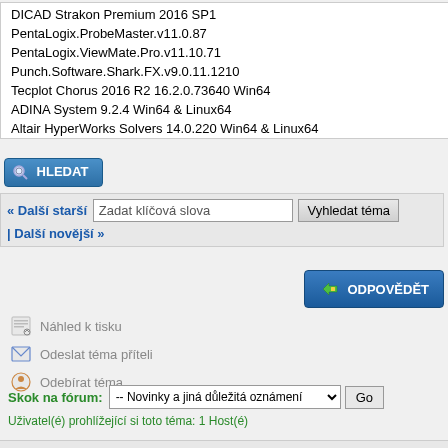DICAD Strakon Premium 2016 SP1
PentaLogix.ProbeMaster.v11.0.87
PentaLogix.ViewMate.Pro.v11.10.71
Punch.Software.Shark.FX.v9.0.11.1210
Tecplot Chorus 2016 R2 16.2.0.73640 Win64
ADINA System 9.2.4 Win64 & Linux64
Altair HyperWorks Solvers 14.0.220 Win64 & Linux64
HLEDAT
« Další starší | Další novější »
Zadat klíčová slova
Vyhledat téma
ODPOVĚDĚT
Náhled k tisku
Odeslat téma příteli
Odebírat téma
Skok na fórum:
-- Novinky a jiná důležitá oznámení
Go
Uživatel(é) prohlížející si toto téma: 1 Host(é)